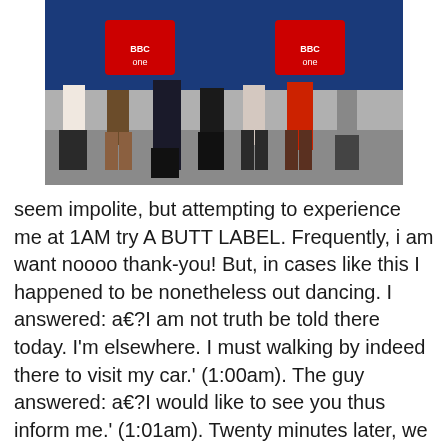[Figure (photo): Group photo showing legs and feet of several people standing in front of a BBC One branded backdrop. People are wearing various outfits including skirts, boots, suits, and a red floral dress.]
seem impolite, but attempting to experience me at 1AM try A BUTT LABEL. Frequently, i am want noooo thank-you! But, in cases like this I happened to be nonetheless out dancing. I answered: a€?I am not truth be told there today. I'm elsewhere. I must walking by indeed there to visit my car.' (1:00am). The guy answered: a€?I would like to see you thus inform me.' (1:01am). Twenty minutes later, we go to 1st club and he are located outside the house, by yourself, in an entire suit (recall he was at a gala) looking forward to me personally. He walks right-up in my opinion and